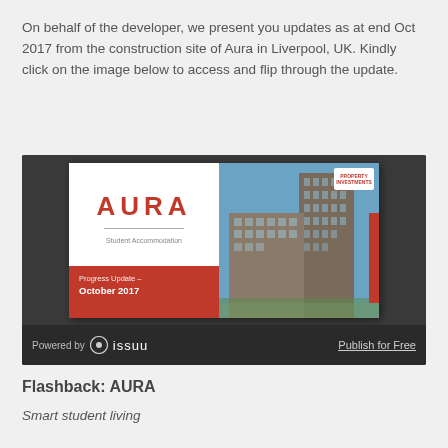On behalf of the developer, we present you updates as at end Oct 2017 from the construction site of Aura in Liverpool, UK. Kindly click on the image below to access and flip through the update.
[Figure (screenshot): Issuu embedded document viewer showing the AURA Student Accommodation Progress Update October 2017 brochure cover, with a building photo on the right side. Bottom bar shows 'Powered by issuu' and 'Publish for Free'.]
Flashback: AURA
Smart student living